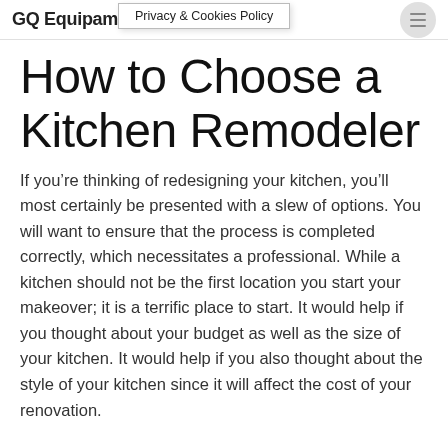GQ Equipamientos
Privacy & Cookies Policy
How to Choose a Kitchen Remodeler
If you're thinking of redesigning your kitchen, you'll most certainly be presented with a slew of options. You will want to ensure that the process is completed correctly, which necessitates a professional. While a kitchen should not be the first location you start your makeover; it is a terrific place to start. It would help if you thought about your budget as well as the size of your kitchen. It would help if you also thought about the style of your kitchen since it will affect the cost of your renovation.